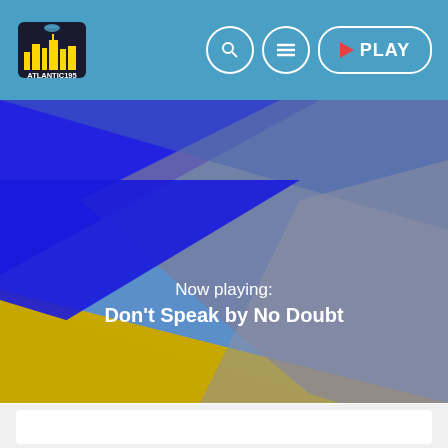[Figure (screenshot): Atlantic195 radio website header with logo on left and navigation buttons (search, menu, play) on right, over a teal/blue background]
[Figure (illustration): Geometric abstract background with overlapping triangles in blue, yellow/gold, and gray-purple colors forming a dynamic angular design]
Now playing:
Don't Speak by No Doubt